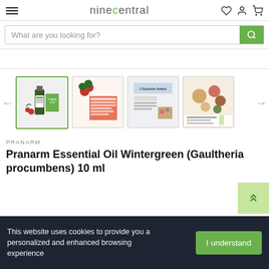ninecentral
What are you looking for?
[Figure (screenshot): Four product thumbnails in a carousel: first shows Pranarm essential oil bottle with green box (selected), second shows a pink/green info card with plant, third shows a grey product info card, fourth shows spices/botanical ingredients image. Left and right navigation arrows on sides.]
PRANARM
Pranarm Essential Oil Wintergreen (Gaultheria procumbens) 10 ml
This website uses cookies to provide you a personalized and enhanced browsing experience